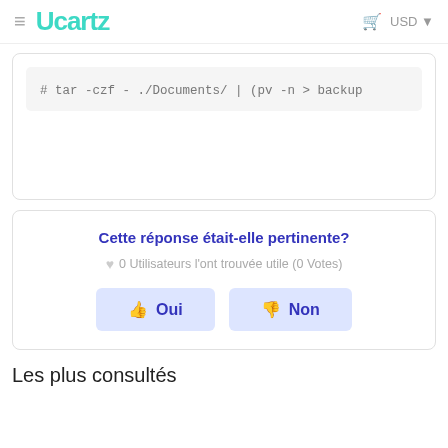≡  Ucartz   🛒  USD ▾
# tar -czf - ./Documents/ | (pv -n > backup
Cette réponse était-elle pertinente?
♥ 0 Utilisateurs l'ont trouvée utile (0 Votes)
👍 Oui   👎 Non
Les plus consultés